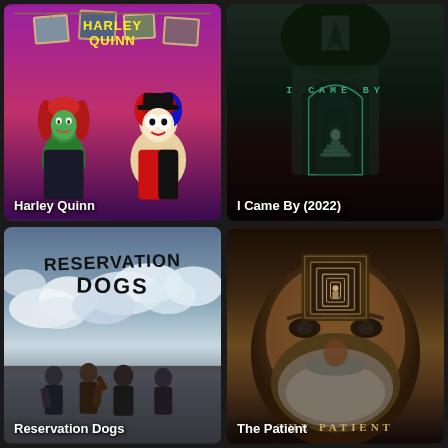[Figure (photo): Harley Quinn animated show poster featuring Harley Quinn and Poison Ivy characters in a purple/pink bar setting with villain photos on the wall]
Harley Quinn
[Figure (photo): I Came By (2022) movie poster showing a dark thriller scene with a figure on stairs and teal title text on dark background]
I Came By (2022)
[Figure (photo): Reservation Dogs TV show poster with stylized hand-lettered title text over dramatic cloudy sky with young characters below]
Reservation Dogs
[Figure (photo): The Patient TV show poster featuring a close-up of a bearded man's face with a recursive doorway corridor inset in his forehead]
The Patient